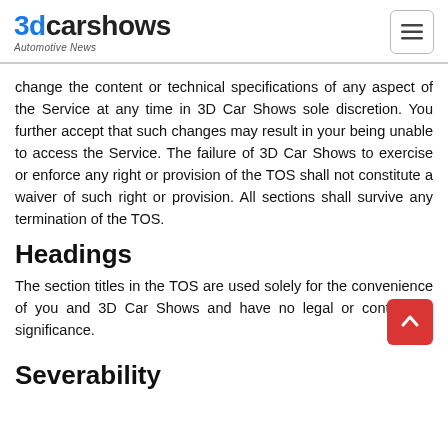3dcarshows Automotive News
change the content or technical specifications of any aspect of the Service at any time in 3D Car Shows sole discretion. You further accept that such changes may result in your being unable to access the Service. The failure of 3D Car Shows to exercise or enforce any right or provision of the TOS shall not constitute a waiver of such right or provision. All sections shall survive any termination of the TOS.
Headings
The section titles in the TOS are used solely for the convenience of you and 3D Car Shows and have no legal or contractual significance.
Severability